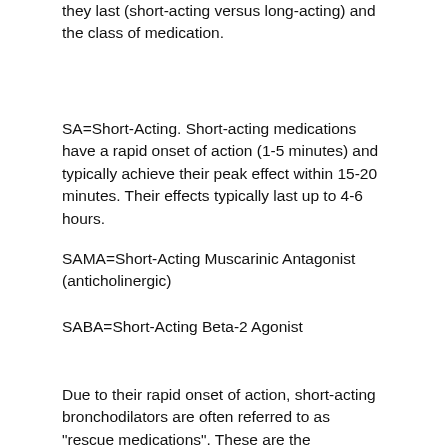they last (short-acting versus long-acting) and the class of medication.
SA=Short-Acting. Short-acting medications have a rapid onset of action (1-5 minutes) and typically achieve their peak effect within 15-20 minutes. Their effects typically last up to 4-6 hours.
SAMA=Short-Acting Muscarinic Antagonist (anticholinergic)
SABA=Short-Acting Beta-2 Agonist
Due to their rapid onset of action, short-acting bronchodilators are often referred to as "rescue medications". These are the